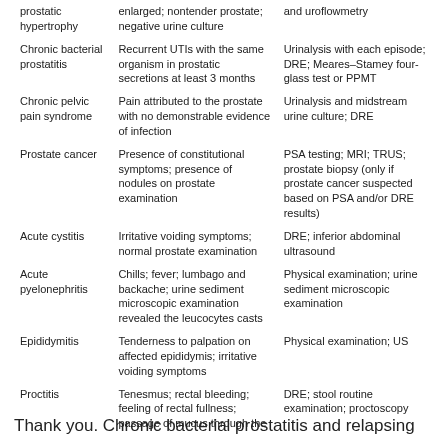| Condition | Symptoms/Signs | Investigations |
| --- | --- | --- |
| prostatic hypertrophy | enlarged; nontender prostate; negative urine culture | and uroflowmetry |
| Chronic bacterial prostatitis | Recurrent UTIs with the same organism in prostatic secretions at least 3 months | Urinalysis with each episode; DRE; Meares–Stamey four-glass test or PPMT |
| Chronic pelvic pain syndrome | Pain attributed to the prostate with no demonstrable evidence of infection | Urinalysis and midstream urine culture; DRE |
| Prostate cancer | Presence of constitutional symptoms; presence of nodules on prostate examination | PSA testing; MRI; TRUS; prostate biopsy (only if prostate cancer suspected based on PSA and/or DRE results) |
| Acute cystitis | Irritative voiding symptoms; normal prostate examination | DRE; inferior abdominal ultrasound |
| Acute pyelonephritis | Chills; fever; lumbago and backache; urine sediment microscopic examination revealed the leucocytes casts | Physical examination; urine sediment microscopic examination |
| Epididymitis | Tenderness to palpation on affected epididymis; irritative voiding symptoms | Physical examination; US |
| Proctitis | Tenesmus; rectal bleeding; feeling of rectal fullness; passage of mucus through the | DRE; stool routine examination; proctoscopy |
Thank you. Chronic bacterial prostatitis and relapsing